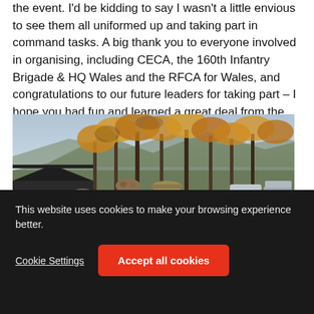the event. I'd be kidding to say I wasn't a little envious to see them all uniformed up and taking part in command tasks. A big thank you to everyone involved in organising, including CECA, the 160th Infantry Brigade & HQ Wales and the RFCA for Wales, and congratulations to our future leaders for taking part – I hope you had fun and learned a great deal from the event.
[Figure (photo): Outdoor photograph showing soldiers in camouflage gear in the foreground with bare autumn trees, a hill/mountain in the background, a dark agricultural building on the left, and autumn foliage visible.]
This website uses cookies to make your browsing experience better.
Cookie Settings  Accept all cookies